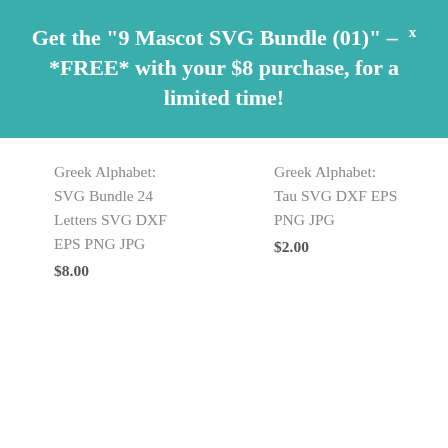Get the "9 Mascot SVG Bundle (01)" – x *FREE* with your $8 purchase, for a limited time!
Greek Alphabet: SVG Bundle 24 Letters SVG DXF EPS PNG JPG $8.00
Greek Alphabet: Tau SVG DXF EPS PNG JPG $2.00